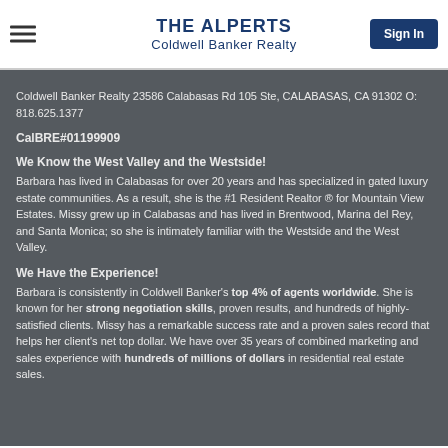THE ALPERTS
Coldwell Banker Realty
Coldwell Banker Realty 23586 Calabasas Rd 105 Ste, CALABASAS, CA 91302 O: 818.625.1377
CalBRE#01199909
We Know the West Valley and the Westside!
Barbara has lived in Calabasas for over 20 years and has specialized in gated luxury estate communities. As a result, she is the #1 Resident Realtor ® for Mountain View Estates. Missy grew up in Calabasas and has lived in Brentwood, Marina del Rey, and Santa Monica; so she is intimately familiar with the Westside and the West Valley.
We Have the Experience!
Barbara is consistently in Coldwell Banker's top 4% of agents worldwide. She is known for her strong negotiation skills, proven results, and hundreds of highly-satisfied clients. Missy has a remarkable success rate and a proven sales record that helps her client's net top dollar. We have over 35 years of combined marketing and sales experience with hundreds of millions of dollars in residential real estate sales.